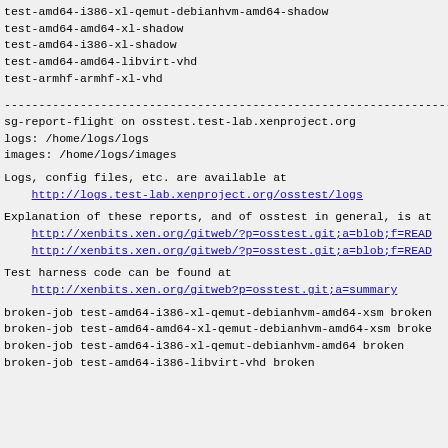test-amd64-i386-xl-qemut-debianhvm-amd64-shadow
test-amd64-amd64-xl-shadow
test-amd64-i386-xl-shadow
test-amd64-amd64-libvirt-vhd
test-armhf-armhf-xl-vhd
------------------------------------------------------------------------
sg-report-flight on osstest.test-lab.xenproject.org
logs: /home/logs/logs
images: /home/logs/images
Logs, config files, etc. are available at
    http://logs.test-lab.xenproject.org/osstest/logs
Explanation of these reports, and of osstest in general, is at
    http://xenbits.xen.org/gitweb/?p=osstest.git;a=blob;f=READ
    http://xenbits.xen.org/gitweb/?p=osstest.git;a=blob;f=READ
Test harness code can be found at
    http://xenbits.xen.org/gitweb?p=osstest.git;a=summary
broken-job test-amd64-i386-xl-qemut-debianhvm-amd64-xsm broken
broken-job test-amd64-amd64-xl-qemut-debianhvm-amd64-xsm broken
broken-job test-amd64-i386-xl-qemut-debianhvm-amd64 broken
broken-job test-amd64-i386-libvirt-vhd broken